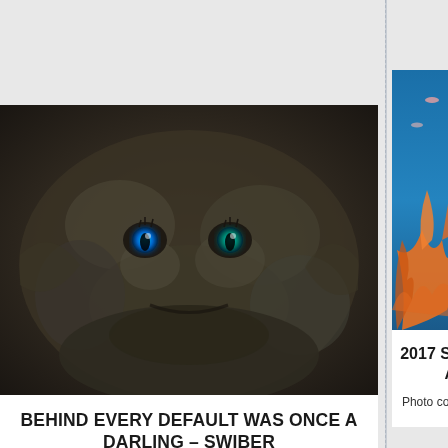[Figure (photo): Close-up of a dark frogfish or similar camouflaged creature with glowing blue eyes against a dark textured background]
BEHIND EVERY DEFAULT WAS ONCE A DARLING – SWIBER
by
photo courtesy of Ms Jeannie Tan, wildlife
[Figure (photo): Underwater coral reef scene with orange and purple corals, small reef fish, and a diver with a blue tank visible on the right]
2017 SING OUTLOOK A THE RA
Photo courtesy of Has Been A Year To